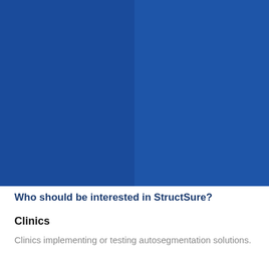[Figure (illustration): Blue banner background split into two slightly different shades of blue, left and right panels]
Who should be interested in StructSure?
Clinics
Clinics implementing or testing autosegmentation solutions.